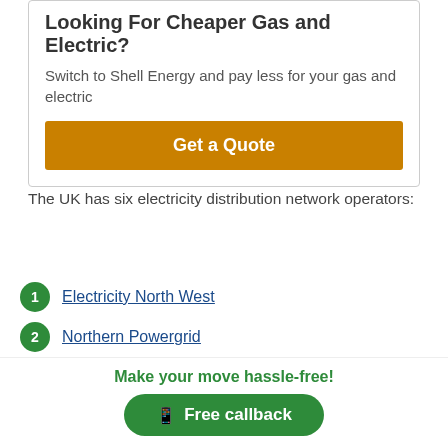Looking For Cheaper Gas and Electric?
Switch to Shell Energy and pay less for your gas and electric
Get a Quote
The UK has six electricity distribution network operators:
Electricity North West
Northern Powergrid
SSE Networks
SP Energy Networks
Make your move hassle-free!
Free callback